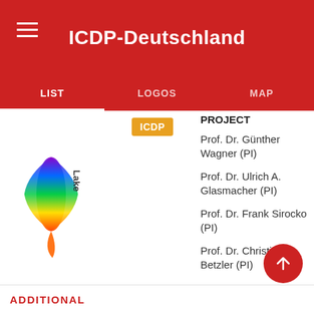ICDP-Deutschland
LIST
LOGOS
MAP
[Figure (logo): Lake Drilling colorful vertical logo with flame-like colors]
[Figure (logo): ICDP orange badge label]
PROJECT
Prof. Dr. Günther Wagner (PI)
Prof. Dr. Ulrich A. Glasmacher (PI)
Prof. Dr. Frank Sirocko (PI)
Prof. Dr. Christian Betzler (PI)
ADDITIONAL